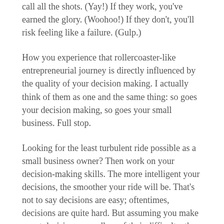call all the shots. (Yay!) If they work, you've earned the glory. (Woohoo!) If they don't, you'll risk feeling like a failure. (Gulp.)
How you experience that rollercoaster-like entrepreneurial journey is directly influenced by the quality of your decision making. I actually think of them as one and the same thing: so goes your decision making, so goes your small business. Full stop.
Looking for the least turbulent ride possible as a small business owner? Then work on your decision-making skills. The more intelligent your decisions, the smoother your ride will be. That's not to say decisions are easy; oftentimes, decisions are quite hard. But assuming you make smart decisions regardless of their difficulty, the tracks those decisions lay ahead of you will provide for a smoother and more successful journey.